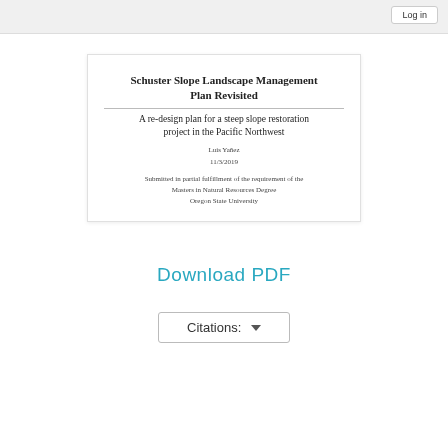Schuster Slope Landscape Management Plan Revisited
A re-design plan for a steep slope restoration project in the Pacific Northwest
Luis Yañez
11/3/2019
Submitted in partial fulfillment of the requirement of the Masters in Natural Resources Degree Oregon State University
Download PDF
Citations: